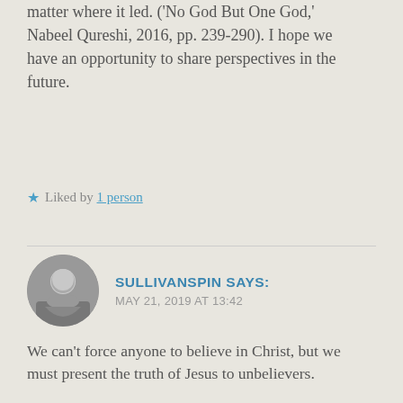matter where it led. ('No God But One God,' Nabeel Qureshi, 2016, pp. 239-290). I hope we have an opportunity to share perspectives in the future.
★ Liked by 1 person
SULLIVANSPIN SAYS:
MAY 21, 2019 AT 13:42
We can't force anyone to believe in Christ, but we must present the truth of Jesus to unbelievers.
Diligence in love is ultimately a work (salvation is worked by the Holy Spirit) and without the message of Christ proclaimed the world can't